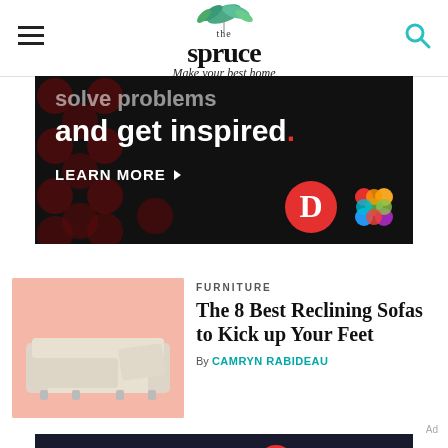the spruce — Make your best home
[Figure (photo): Advertisement banner with dark background showing polka dot pattern, text 'and get inspired.' with LEARN MORE button, Dotdash and Meredith logos]
[Figure (photo): Reclining sofa on pink background]
FURNITURE
The 8 Best Reclining Sofas to Kick up Your Feet
By CAMRYN RABIDEAU
[Figure (photo): Bottom advertisement: We help people find answers, solve problems and get inspired. Dotdash Meredith logo]